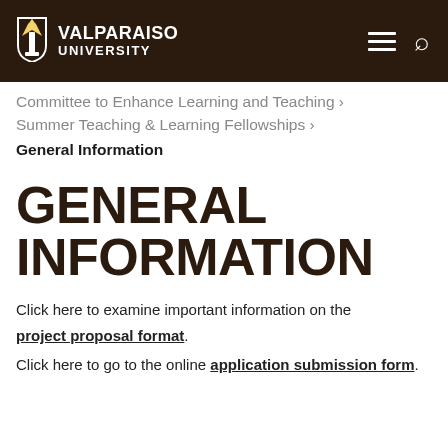VALPARAISO UNIVERSITY
Committee to Enhance Learning and Teaching ›
Summer Teaching & Learning Fellowships ›
General Information
GENERAL INFORMATION
Click here to examine important information on the project proposal format. Click here to go to the online application submission form.